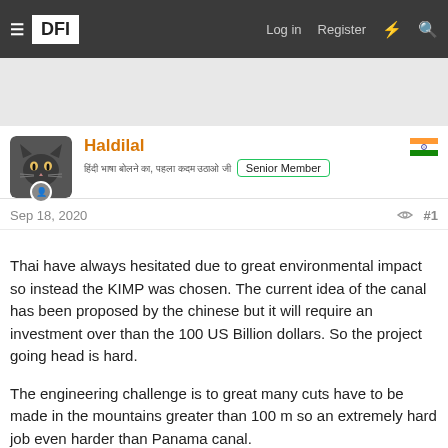DFI  Log in  Register
[Figure (screenshot): Gray advertisement/banner area]
Haldilal
हिंदी भाषा बोलने का, पहला कदम उठाओ जी  Senior Member
Sep 18, 2020  #1
Thai have always hesitated due to great environmental impact so instead the KIMP was chosen. The current idea of the canal has been proposed by the chinese but it will require an investment over than the 100 US Billion dollars. So the project going head is hard.

The engineering challenge is to great many cuts have to be made in the mountains greater than 100 m so an extremely hard job even harder than Panama canal.